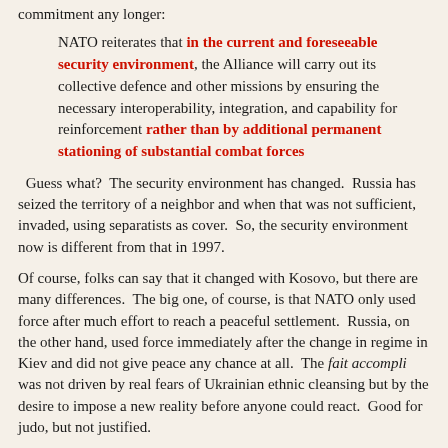commitment any longer:
NATO reiterates that in the current and foreseeable security environment, the Alliance will carry out its collective defence and other missions by ensuring the necessary interoperability, integration, and capability for reinforcement rather than by additional permanent stationing of substantial combat forces
Guess what?  The security environment has changed.  Russia has seized the territory of a neighbor and when that was not sufficient, invaded, using separatists as cover.  So, the security environment now is different from that in 1997.
Of course, folks can say that it changed with Kosovo, but there are many differences.  The big one, of course, is that NATO only used force after much effort to reach a peaceful settlement.  Russia, on the other hand, used force immediately after the change in regime in Kiev and did not give peace any chance at all.  The fait accompli was not driven by real fears of Ukrainian ethnic cleansing but by the desire to impose a new reality before anyone could react.  Good for judo, but not justified.